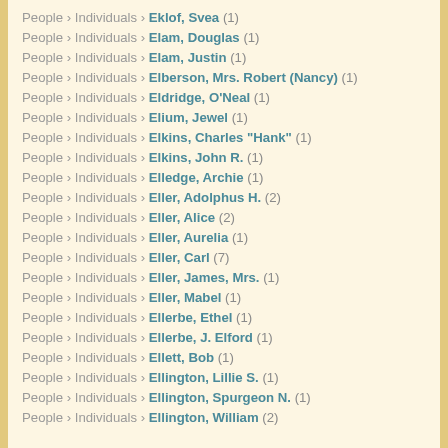People › Individuals › Eklof, Svea (1)
People › Individuals › Elam, Douglas (1)
People › Individuals › Elam, Justin (1)
People › Individuals › Elberson, Mrs. Robert (Nancy) (1)
People › Individuals › Eldridge, O'Neal (1)
People › Individuals › Elium, Jewel (1)
People › Individuals › Elkins, Charles "Hank" (1)
People › Individuals › Elkins, John R. (1)
People › Individuals › Elledge, Archie (1)
People › Individuals › Eller, Adolphus H. (2)
People › Individuals › Eller, Alice (2)
People › Individuals › Eller, Aurelia (1)
People › Individuals › Eller, Carl (7)
People › Individuals › Eller, James, Mrs. (1)
People › Individuals › Eller, Mabel (1)
People › Individuals › Ellerbe, Ethel (1)
People › Individuals › Ellerbe, J. Elford (1)
People › Individuals › Ellett, Bob (1)
People › Individuals › Ellington, Lillie S. (1)
People › Individuals › Ellington, Spurgeon N. (1)
People › Individuals › Ellington, William (2)